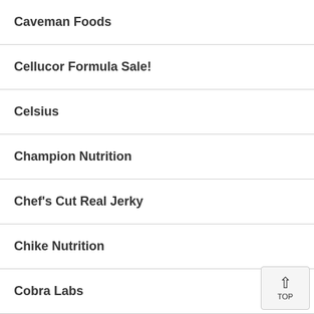Caveman Foods
Cellucor Formula Sale!
Celsius
Champion Nutrition
Chef's Cut Real Jerky
Chike Nutrition
Cobra Labs
Controlled Labs